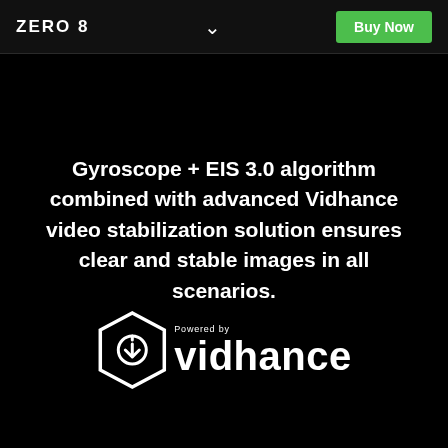ZERO 8  ˅  Buy Now
Gyroscope + EIS 3.0 algorithm combined with advanced Vidhance video stabilization solution ensures clear and stable images in all scenarios.
[Figure (logo): Powered by Vidhance logo — hexagonal icon with a circular arrow symbol, white on black, with 'Powered by' text above and 'vidhance' wordmark in white bold text]